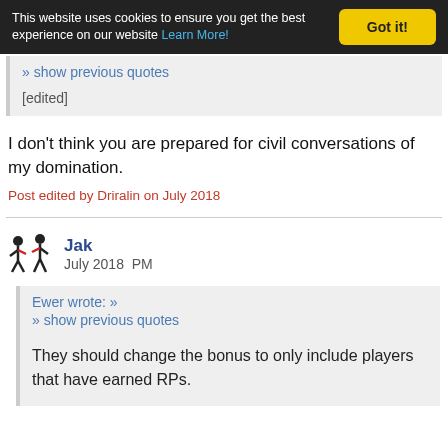This website uses cookies to ensure you get the best experience on our website Learn More!
» show previous quotes
[edited]
I don't think you are prepared for civil conversations of my domination.
Post edited by Driralin on July 2018
Jak
July 2018  PM
Ewer wrote: »
» show previous quotes
They should change the bonus to only include players that have earned RPs.